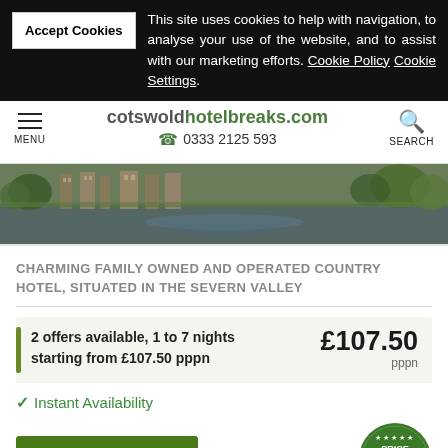This site uses cookies to help with navigation, to analyse your use of the website, and to assist with our marketing efforts. Cookie Policy Cookie Settings.
Accept Cookies
cotswoldhotelbreaks.com
0333 2125 593
[Figure (photo): Aerial or elevated view of a country hotel beside a river, stone building with green trees]
CHARMING FAMILY OWNED AND OPERATED COUNTRY HOTEL, SITUATED IN THE SEVERN VALLEY
2 offers available, 1 to 7 nights starting from £107.50 pppn
£107.50 pppn
✔ Instant Availability
VIEW & BOOK
[Figure (logo): Price Match Guarantee Plus circular green badge with stars]